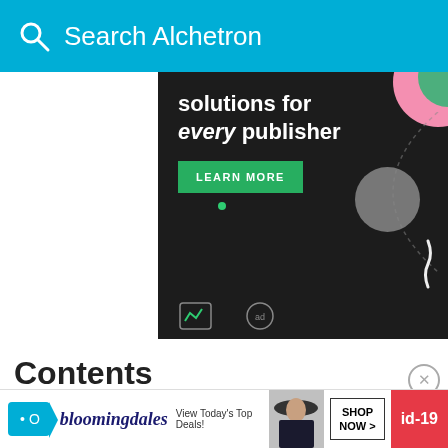Search Alchetron
[Figure (screenshot): Advertisement banner: dark background with text 'solutions for every publisher' and green 'LEARN MORE' button with decorative shapes]
Contents
Oldboy official theatrical trailer 1 2013 josh br
Plot
Cast
Production
Critical response
[Figure (screenshot): Bloomingdale's advertisement: 'View Today's Top Deals!' with woman in hat, SHOP NOW button, and id-19 badge]